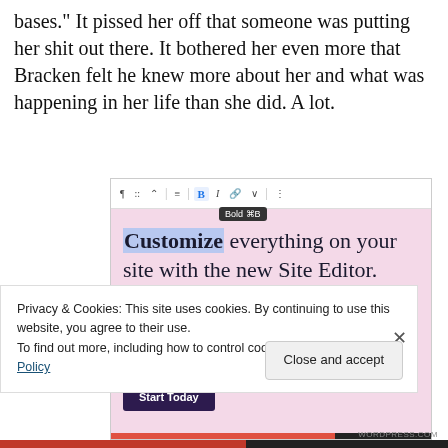bases." It pissed her off that someone was putting her shit out there. It bothered her even more that Bracken felt he knew more about her and what was happening in her life than she did. A lot.
[Figure (screenshot): Screenshot of a WordPress site editor interface showing a toolbar with Bold button active (tooltip: 'Bold ⌘B'), and text reading 'Customize everything on your site with the new Site Editor.' with a 'Start Today' button on a pink background.]
Privacy & Cookies: This site uses cookies. By continuing to use this website, you agree to their use.
To find out more, including how to control cookies, see here: Cookie Policy
Close and accept